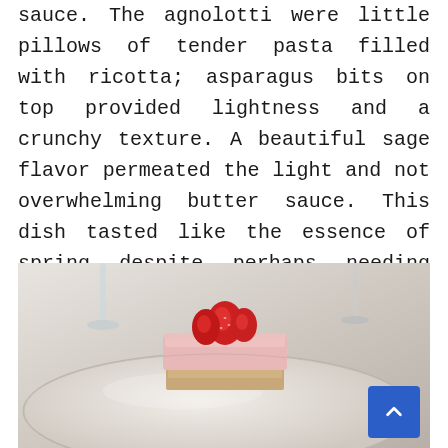sauce. The agnolotti were little pillows of tender pasta filled with ricotta; asparagus bits on top provided lightness and a crunchy texture. A beautiful sage flavor permeated the light and not overwhelming butter sauce. This dish tasted like the essence of spring despite perhaps needing just a bit more salt to make it perfect!
[Figure (photo): A plated dessert on a white plate — a square layered cake slice topped with fresh red strawberries, pink cream filling, and a biscuit/sponge base. Wine glasses and soft-focus background visible.]